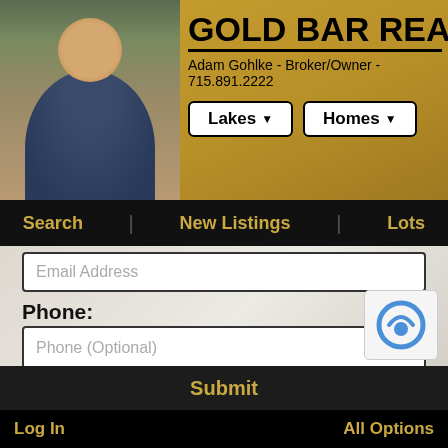[Figure (screenshot): Gold Bar Realty website header with photo of Adam Gohlke, broker/owner]
GOLD BAR REALTY
Adam Gohlke - Broker/Owner - 715.891.2222
Search | New Listings | Lots
Email Address
Phone:
Phone (Optional)
Message:
Message Content
Submit
Log In    All Options